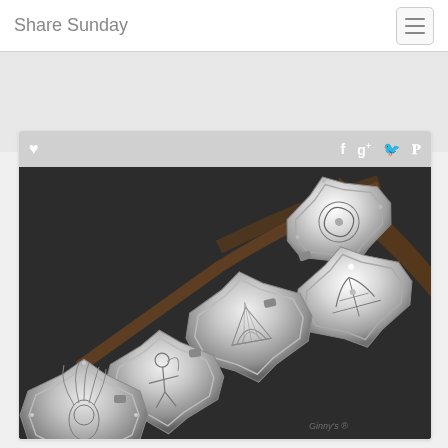Share Sunday
[Figure (photo): A silver concho belt photographed on a dark background. Multiple octagonal silver conchos with engraved Native American designs including a headdress, eagle, and floral motifs are shown spread out on a dark gray surface. A watermark reading 'Ginny's' is visible in the lower right.]